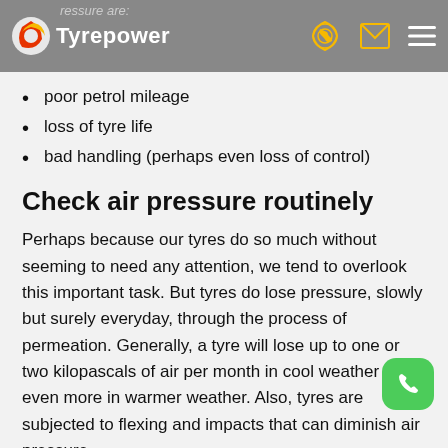Tyrepower
poor petrol mileage
loss of tyre life
bad handling (perhaps even loss of control)
Check air pressure routinely
Perhaps because our tyres do so much without seeming to need any attention, we tend to overlook this important task. But tyres do lose pressure, slowly but surely everyday, through the process of permeation. Generally, a tyre will lose up to one or two kilopascals of air per month in cool weather and even more in warmer weather. Also, tyres are subjected to flexing and impacts that can diminish air pressure.
So, think in terms of refilling your tyre just like you do your petrol tank; actually that's a good reminder of the...